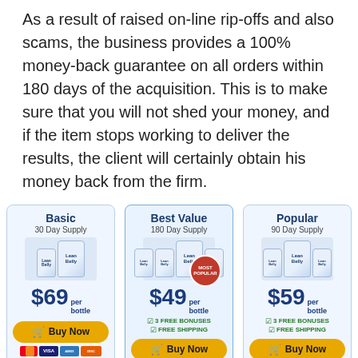As a result of raised on-line rip-offs and also scams, the business provides a 100% money-back guarantee on all orders within 180 days of the acquisition. This is to make sure that you will not shed your money, and if the item stops working to deliver the results, the client will certainly obtain his money back from the firm.
| Basic | Best Value | Popular |
| --- | --- | --- |
| 30 Day Supply | 180 Day Supply | 90 Day Supply |
| $69 per bottle | $49 per bottle | $59 per bottle |
|  | 3 FREE BONUSES, FREE SHIPPING | 3 FREE BONUSES, FREE SHIPPING |
| Buy Now | Buy Now | Buy Now |
| $179 $69 + SHIPPING | $1074 $294 180 days Guarantee | $537 $177 180 days Guarantee |